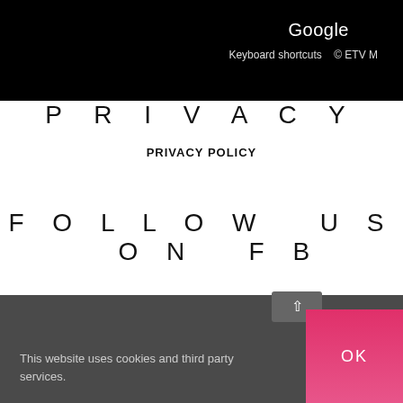Google
Keyboard shortcuts  © ETV M
PRIVACY
PRIVACY POLICY
FOLLOW US ON FB
This website uses cookies and third party services.
OK